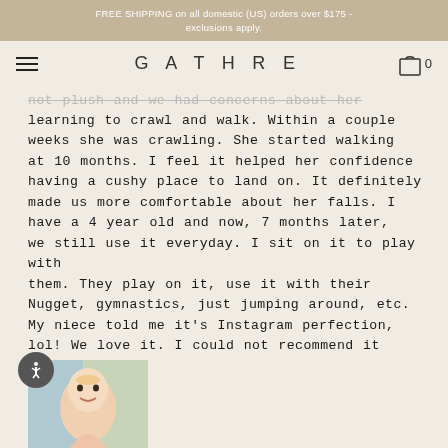FREE SHIPPING on all domestic (US) orders over $175 - exclusions apply.
GATHRE
not plush and we had concerns about her learning to crawl and walk. Within a couple weeks she was crawling. She started walking at 10 months. I feel it helped her confidence having a cushy place to land on. It definitely made us more comfortable about her falls. I have a 4 year old and now, 7 months later, we still use it everyday. I sit on it to play with them. They play on it, use it with their Nugget, gymnastics, just jumping around, etc. My niece told me it's Instagram perfection, lol! We love it. I could not recommend it enough.
[Figure (photo): Photo of a baby smiling, appearing to be sitting on a play mat indoors.]